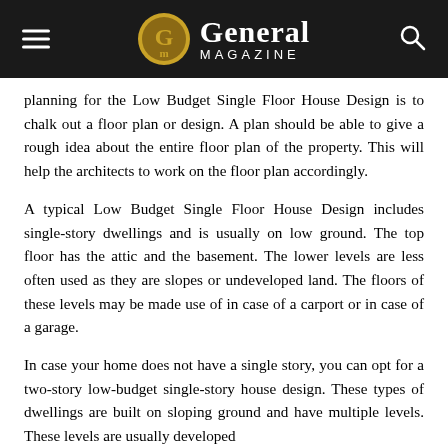General MAGAZINE
planning for the Low Budget Single Floor House Design is to chalk out a floor plan or design. A plan should be able to give a rough idea about the entire floor plan of the property. This will help the architects to work on the floor plan accordingly.
A typical Low Budget Single Floor House Design includes single-story dwellings and is usually on low ground. The top floor has the attic and the basement. The lower levels are less often used as they are slopes or undeveloped land. The floors of these levels may be made use of in case of a carport or in case of a garage.
In case your home does not have a single story, you can opt for a two-story low-budget single-story house design. These types of dwellings are built on sloping ground and have multiple levels. These levels are usually developed